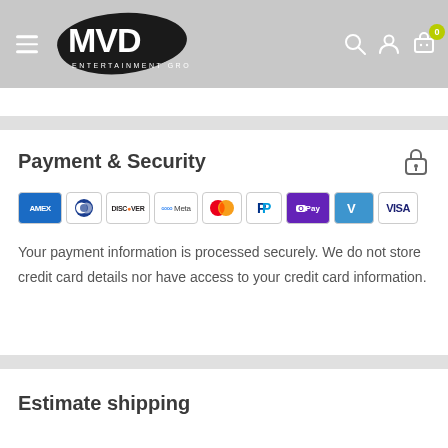[Figure (logo): MVD Entertainment Group logo — black blob shape with white MVD text and 'ENTERTAINMENT GROUP' below]
Payment & Security
[Figure (infographic): Payment method icons: American Express, Diners Club, Discover, Meta Pay, Mastercard, PayPal, OPay, Venmo, Visa]
Your payment information is processed securely. We do not store credit card details nor have access to your credit card information.
Estimate shipping